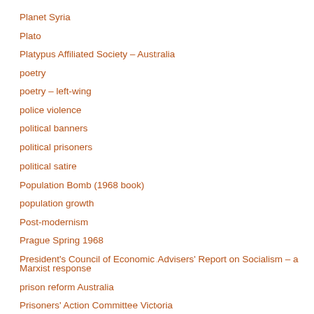Planet Syria
Plato
Platypus Affiliated Society – Australia
poetry
poetry – left-wing
police violence
political banners
political prisoners
political satire
Population Bomb (1968 book)
population growth
Post-modernism
Prague Spring 1968
President's Council of Economic Advisers' Report on Socialism – a Marxist response
prison reform Australia
Prisoners' Action Committee Victoria